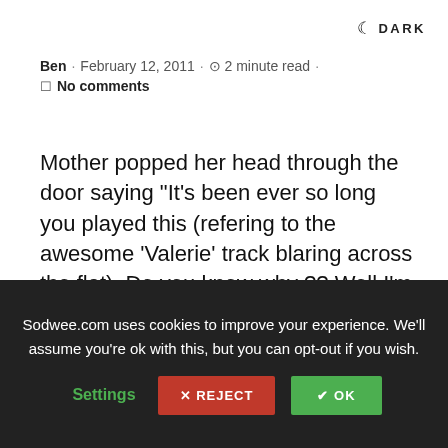DARK
Ben · February 12, 2011 · 2 minute read · No comments
Mother popped her head through the door saying “It's been ever so long you played this (refering to the awesome ‘Valerie’ track blaring across the flat). Do you know why ?? Well I’m playing a live recording of Misses Winehouse rather loudly on this grey Saturday afternoon and reading Facebook statuses flowing in my newstream of how disappointing her show was last night in Dubai.
Sodwee.com uses cookies to improve your experience. We'll assume you're ok with this, but you can opt-out if you wish. Settings ✕ REJECT ✓ OK